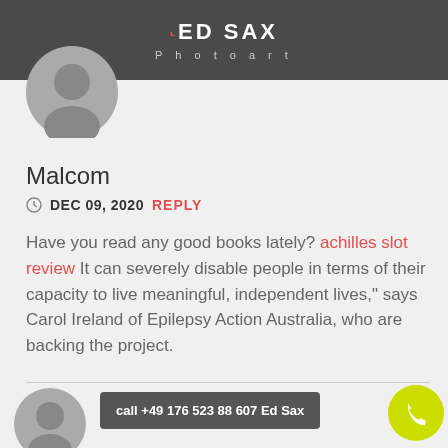ED SAX Photoart
[Figure (illustration): Gray default user avatar circle, top left]
Malcom
DEC 09, 2020   REPLY
Have you read any good books lately? achilles slot review It can severely disable people in terms of their capacity to live meaningful, independent lives," says Carol Ireland of Epilepsy Action Australia, who are backing the project.
[Figure (illustration): Gray default user avatar circle, bottom left]
call +49 176 523 88 607 Ed Sax
[Figure (illustration): Yellow phone call button circle, bottom right]